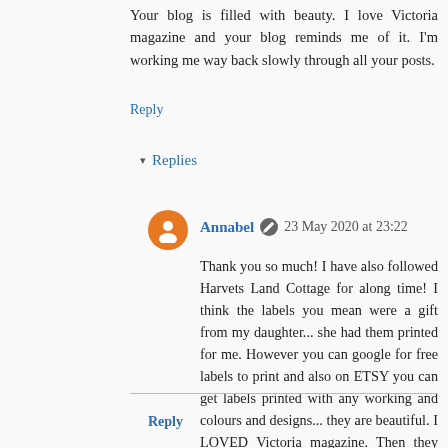Your blog is filled with beauty. I love Victoria magazine and your blog reminds me of it. I'm working me way back slowly through all your posts.
Reply
▾ Replies
Annabel  23 May 2020 at 23:22
Thank you so much! I have also followed Harvets Land Cottage for along time! I think the labels you mean were a gift from my daughter... she had them printed for me. However you can google for free labels to print and also on ETSY you can get labels printed with any working and colours and designs... they are beautiful. I LOVED Victoria magazine. Then they stopped publishing but I think they started back up again. They were always my favourite. Thank you very much! With love Annabel.xxx
Reply